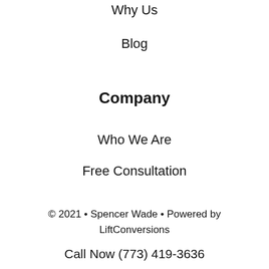Why Us
Blog
Company
Who We Are
Free Consultation
© 2021 • Spencer Wade • Powered by LiftConversions
Call Now (773) 419-3636